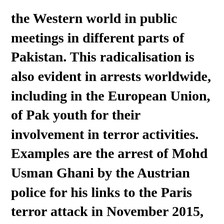the Western world in public meetings in different parts of Pakistan. This radicalisation is also evident in arrests worldwide, including in the European Union, of Pak youth for their involvement in terror activities. Examples are the arrest of Mohd Usman Ghani by the Austrian police for his links to the Paris terror attack in November 2015, the arrest of 18 Pak nationals by the Italian security agencies in 2015 for their association with international terrorism, and of 2 Pakistani